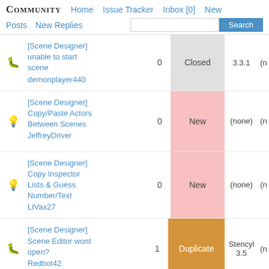COMMUNITY  Home  Issue Tracker  Inbox [0]  New  Posts  New Replies  Search
[Scene Designer] unable to start scene
demonplayer440 | 0 replies | Closed | 3.3.1
[Scene Designer] Copy/Paste Actors Between Scenes
JeffreyDriver | 0 replies | New | (none)
[Scene Designer] Copy Inspector Lists & Guess Number/Text
LtVax27 | 0 replies | New | (none)
[Scene Designer] Scene Editor wont open?
Redbot42 | 1 reply | Duplicate | Stencyl 3.5